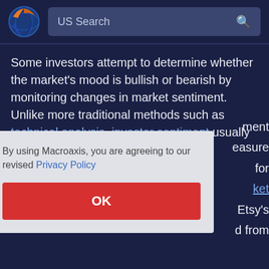[Figure (logo): Macroaxis logo: circular globe with orange and blue colors]
US Search
Some investors attempt to determine whether the market's mood is bullish or bearish by monitoring changes in market sentiment. Unlike more traditional methods such as technical analysis, investor sentiment usually refers to the ...ment ...easure ...for ...ket ... Etsy's ...d from
By using Macroaxis, you are agreeing to our revised Privacy Policy
OK